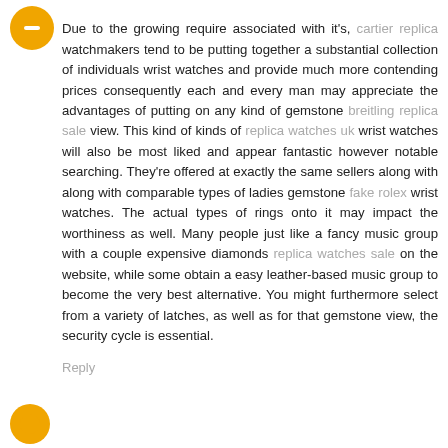[Figure (illustration): Orange circular avatar with minus/dash icon in the center]
Due to the growing require associated with it's, cartier replica watchmakers tend to be putting together a substantial collection of individuals wrist watches and provide much more contending prices consequently each and every man may appreciate the advantages of putting on any kind of gemstone breitling replica sale view. This kind of kinds of replica watches uk wrist watches will also be most liked and appear fantastic however notable searching. They're offered at exactly the same sellers along with along with comparable types of ladies gemstone fake rolex wrist watches. The actual types of rings onto it may impact the worthiness as well. Many people just like a fancy music group with a couple expensive diamonds replica watches sale on the website, while some obtain a easy leather-based music group to become the very best alternative. You might furthermore select from a variety of latches, as well as for that gemstone view, the security cycle is essential.
Reply
[Figure (illustration): Orange circular avatar at bottom left]